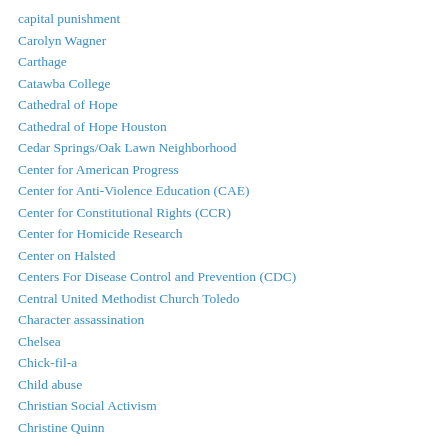capital punishment
Carolyn Wagner
Carthage
Catawba College
Cathedral of Hope
Cathedral of Hope Houston
Cedar Springs/Oak Lawn Neighborhood
Center for American Progress
Center for Anti-Violence Education (CAE)
Center for Constitutional Rights (CCR)
Center for Homicide Research
Center on Halsted
Centers For Disease Control and Prevention (CDC)
Central United Methodist Church Toledo
Character assassination
Chelsea
Chick-fil-a
Child abuse
Christian Social Activism
Christine Quinn